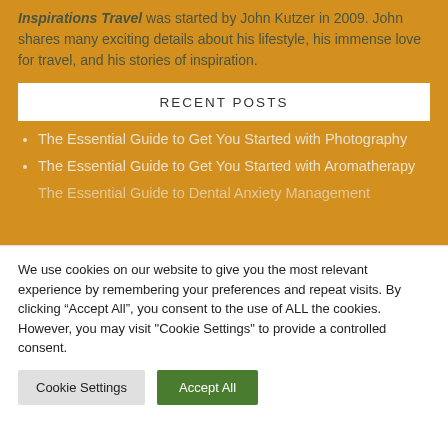Inspirations Travel was started by John Kutzer in 2009. John shares many exciting details about his lifestyle, his immense love for travel, and his stories of inspiration.
RECENT POSTS
The Essential Guide to Get You Started with Photography
The Essential Guide to Get You Started with Aromatherapy
The Essential Guide to Dental Anxiety Management
We use cookies on our website to give you the most relevant experience by remembering your preferences and repeat visits. By clicking “Accept All”, you consent to the use of ALL the cookies. However, you may visit "Cookie Settings" to provide a controlled consent.